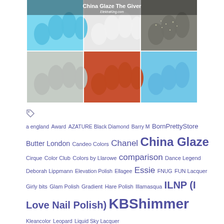[Figure (photo): Collage of 6 nail polish swatches showing China Glaze The Giver collection: light blue, white, glittery grey, pale grey, orange/coral, and sky blue polishes on nails with bottles]
[Figure (other): Tag/label icon in grey-blue color]
a england  Award  AZATURE Black Diamond  Barry M  BornPrettyStore  Butter London  Candeo Colors  Chanel  China Glaze  Cirque  Color Club  Colors by Llarowe  comparison  Dance Legend  Deborah Lippmann  Elevation Polish  Ellagee  Essie  FNUG  FUN Lacquer  Girly bits  Glam Polish  Gradient  Hare Polish  Illamasqua  ILNP (I Love Nail Polish)  KBShimmer  Kleancolor  Leopard  Liquid Sky Lacquer